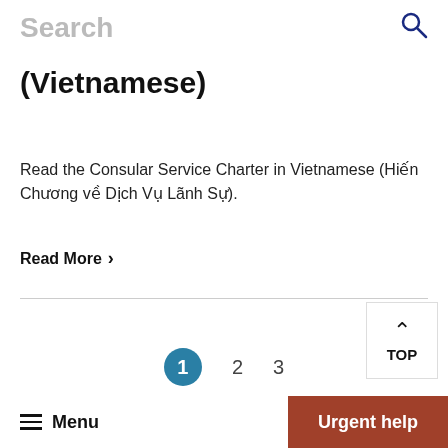Search
(Vietnamese)
Read the Consular Service Charter in Vietnamese (Hiến Chương về Dịch Vụ Lãnh Sự).
Read More >
▲ TOP
1  2  3
≡ Menu   Urgent help